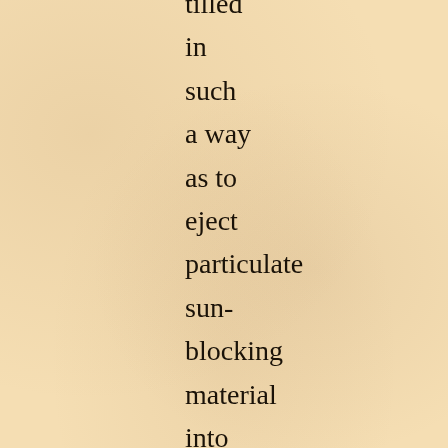tilled in such a way as to eject particulate sun-blocking material into the upper atmosphere. Later, Edward Teller similarly suggested (18)